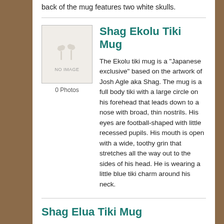back of the mug features two white skulls.
[Figure (photo): No image placeholder with palm tree icon]
0 Photos
Shag Ekolu Tiki Mug
The Ekolu tiki mug is a "Japanese exclusive" based on the artwork of Josh Agle aka Shag. The mug is a full body tiki with a large circle on his forehead that leads down to a nose with broad, thin nostrils. His eyes are football-shaped with little recessed pupils. His mouth is open with a wide, toothy grin that stretches all the way out to the sides of his head. He is wearing a little blue tiki charm around his neck.
Shag Elua Tiki Mug